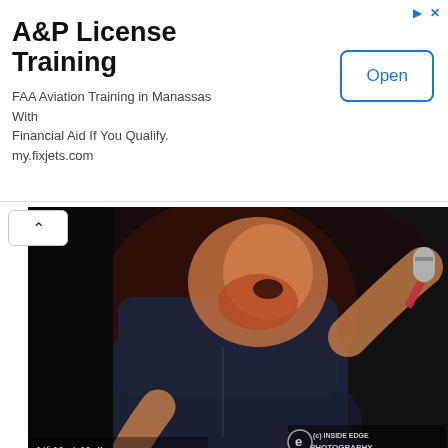[Figure (other): Advertisement banner: A&P License Training, FAA Aviation Training in Manassas With Financial Aid If You Qualify. my.fixjets.com, with Open button]
[Figure (photo): Live concert photo of Luke Combs on stage holding a microphone and a red cup, wearing a dark short-sleeve shirt, with red stage lighting and dark background. Watermarks: LifeMusicMedia.com and (c) Inside Edge Photography]
Luke Combs at Enmore Theatre, Sydney – 21 March 2018
Photographer: Peter Coates
[Figure (photo): Partial view of another performer on stage with microphone, dark background with stage lighting]